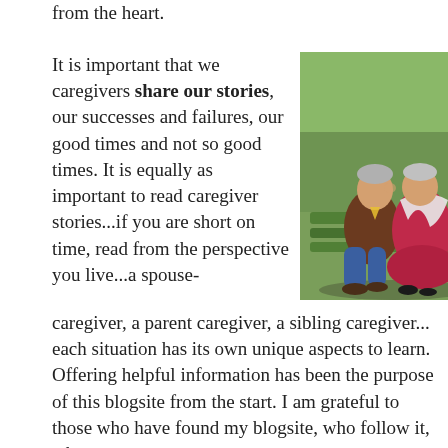from the heart.
It is important that we caregivers share our stories, our successes and failures, our good times and not so good times. It is equally as important to read caregiver stories...if you are short on time, read from the perspective you live...a spouse-caregiver, a parent caregiver, a sibling caregiver... each situation has its own unique aspects to learn. Offering helpful information has been the purpose of this blogsite from the start. I am grateful to those who have found my blogsite, who follow it, who
[Figure (photo): Two elderly figurines (miniature sculptures) of a man and woman sitting on a green bench. The man, wearing a brown jacket and blue jeans, leans in to kiss the woman who is dressed in a pink/red outfit with a white shawl. They are sitting close together outdoors with a green blurred background.]